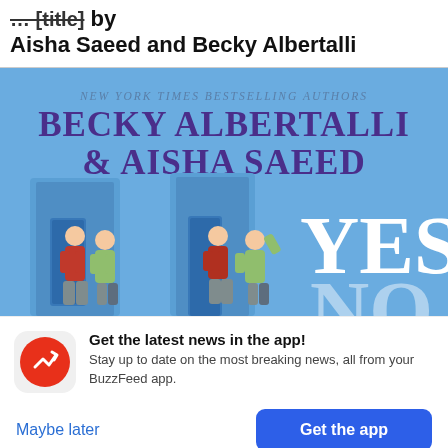[strikethrough text] by Aisha Saeed and Becky Albertalli
[Figure (illustration): Book cover for a novel co-authored by Becky Albertalli and Aisha Saeed. Blue background with 'NEW YORK TIMES BESTSELLING AUTHORS' in italics above large purple bold text 'BECKY ALBERTALLI & AISHA SAEED'. Lower half shows illustrated characters standing at blue doors, with large white text 'YES' and partially visible 'NO'.]
Get the latest news in the app! Stay up to date on the most breaking news, all from your BuzzFeed app.
Maybe later
Get the app